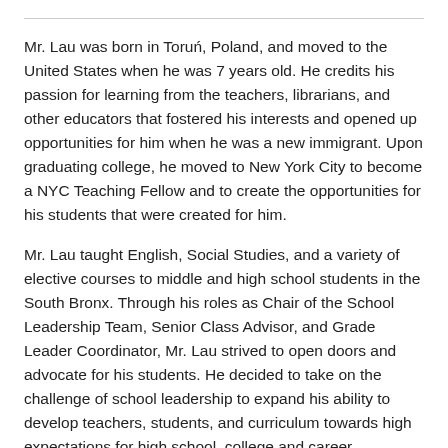Mr. Lau was born in Toruń, Poland, and moved to the United States when he was 7 years old. He credits his passion for learning from the teachers, librarians, and other educators that fostered his interests and opened up opportunities for him when he was a new immigrant. Upon graduating college, he moved to New York City to become a NYC Teaching Fellow and to create the opportunities for his students that were created for him.
Mr. Lau taught English, Social Studies, and a variety of elective courses to middle and high school students in the South Bronx. Through his roles as Chair of the School Leadership Team, Senior Class Advisor, and Grade Leader Coordinator, Mr. Lau strived to open doors and advocate for his students. He decided to take on the challenge of school leadership to expand his ability to develop teachers, students, and curriculum towards high expectations for high school, college and career readiness. He completed his Master's Degree in English Education and Public School Leadership...